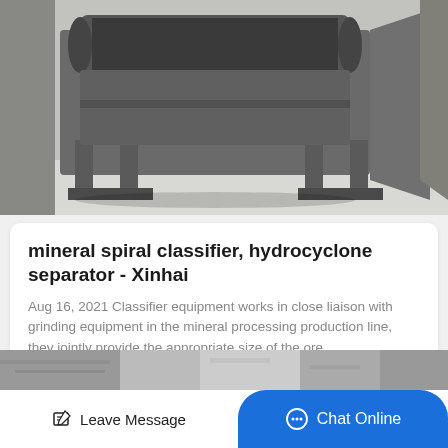[Figure (photo): Industrial mineral spiral classifier or hydrocyclone separator machine in a workshop/factory setting, gray metal equipment on a stand.]
mineral spiral classifier, hydrocyclone separator - Xinhai
Aug 16, 2021 Classifier equipment works in close liaison with grinding equipment in the mineral processing production line, they jointly provide the appropriate size of the ore…
Get Price
[Figure (photo): Partial bottom image strip showing industrial equipment/factory scene.]
Leave Message
Chat Online